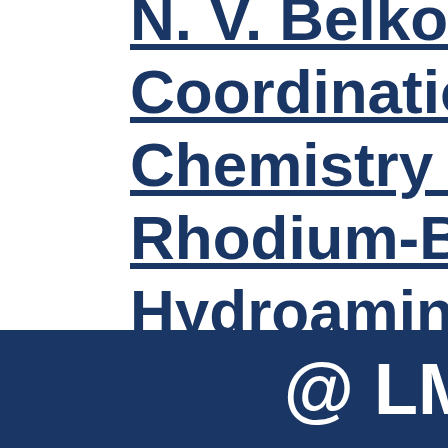N. V. Belkova, L. S. ... Coordination and C... Chemistry of Relev... Rhodium-Based C... Hydroamination
[Figure (other): Dark navy blue footer banner with white text showing '@ LM' (partially visible), part of a logo or institution tag]